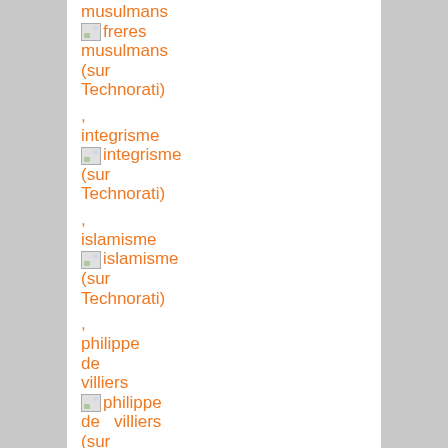musulmans
freres musulmans (sur Technorati)
integrisme
integrisme (sur Technorati)
islamisme
islamisme (sur Technorati)
philippe de villiers
philippe de villiers (sur